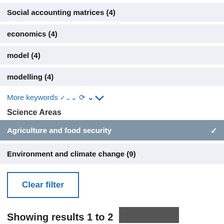Social accounting matrices (4)
economics (4)
model (4)
modelling (4)
More keywords ∨
Science Areas
Agriculture and food security ✓
Environment and climate change (9)
Clear filter
Showing results 1 to 2…